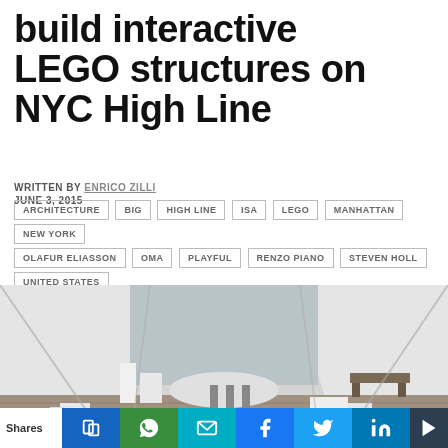build interactive LEGO structures on NYC High Line
WRITTEN BY ENRICO ZILLI
JUNE 3, 2015
ARCHITECTURE
BIG
HIGH LINE
ISA
LEGO
MANHATTAN
NEW YORK
OLAFUR ELIASSON
OMA
PLAYFUL
RENZO PIANO
STEVEN HOLL
UNITED STATES
[Figure (photo): Interior of a white tent-like structure on the NYC High Line showing LEGO models of city structures arranged on a wooden deck floor]
Shares | social share buttons: print, WhatsApp, email, Facebook, Twitter, LinkedIn, Delicious